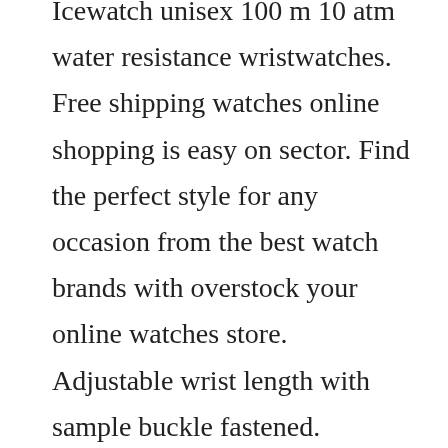Icewatch unisex 100 m 10 atm water resistance wristwatches. Free shipping watches online shopping is easy on sector. Find the perfect style for any occasion from the best watch brands with overstock your online watches store. Adjustable wrist length with sample buckle fastened. Icewatch 100 m 10 atm water resistance watches for sale ebay. The watch is waterrated to 10 atm 100 meters, and it comes with an allweather black silicone band. Buy icewatch 100 m 10 atm water resistance wristwatches and get the best deals.